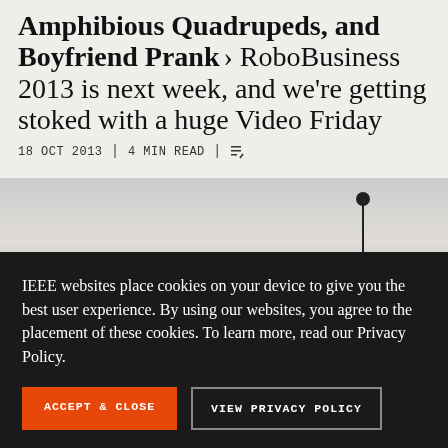Amphibious Quadrupeds, and Boyfriend Prank > RoboBusiness 2013 is next week, and we're getting stoked with a huge Video Friday
18 OCT 2013 | 4 MIN READ
[Figure (photo): Black and white photo of a wall with a small dark dot and a thin vertical line hanging down, part of an article image]
IEEE websites place cookies on your device to give you the best user experience. By using our websites, you agree to the placement of these cookies. To learn more, read our Privacy Policy.
ACCEPT & CLOSE
VIEW PRIVACY POLICY